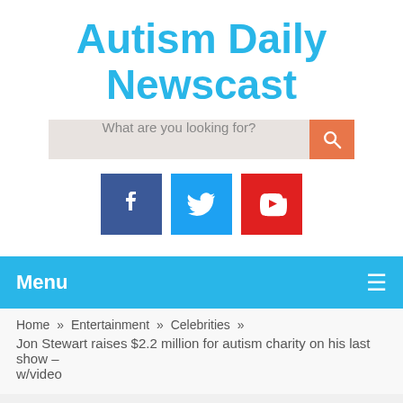Autism Daily Newscast
[Figure (other): Search bar with placeholder text 'What are you looking for?' and orange search button with magnifying glass icon]
[Figure (other): Social media icons: Facebook (dark blue), Twitter (light blue), YouTube (red)]
Menu
Home » Entertainment » Celebrities »
Jon Stewart raises $2.2 million for autism charity on his last show – w/video